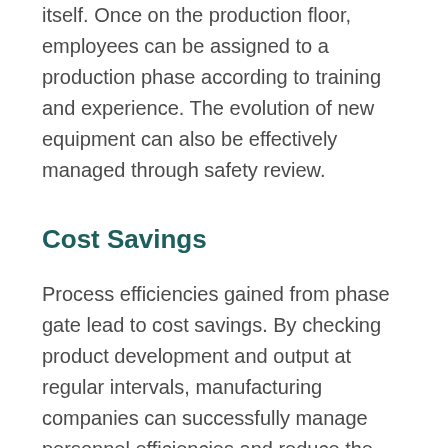itself. Once on the production floor, employees can be assigned to a production phase according to training and experience. The evolution of new equipment can also be effectively managed through safety review.
Cost Savings
Process efficiencies gained from phase gate lead to cost savings. By checking product development and output at regular intervals, manufacturing companies can successfully manage personnel efficiencies and reduce the risk of production waste from manufacturing flaws and product recalls.
Successful phase gate processes